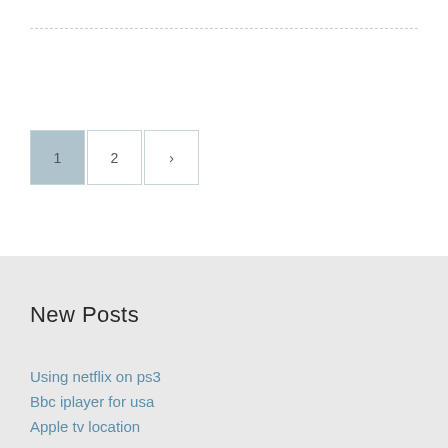1
2
›
New Posts
Using netflix on ps3
Bbc iplayer for usa
Apple tv location